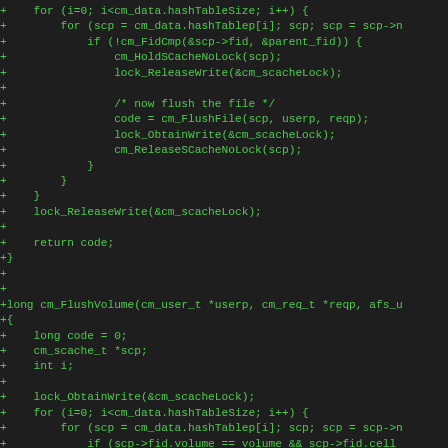[Figure (other): Source code diff showing C functions cm_FlushFile and cm_FlushVolume with added lines marked by '+' in green monospace font on dark background]